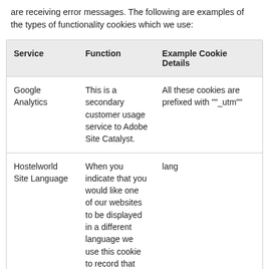are receiving error messages. The following are examples of the types of functionality cookies which we use:
| Service | Function | Example Cookie Details |
| --- | --- | --- |
| Google Analytics | This is a secondary customer usage service to Adobe Site Catalyst. | All these cookies are prefixed with ""_utm"" |
| Hostelworld Site Language | When you indicate that you would like one of our websites to be displayed in a different language we use this cookie to record that preference | lang |